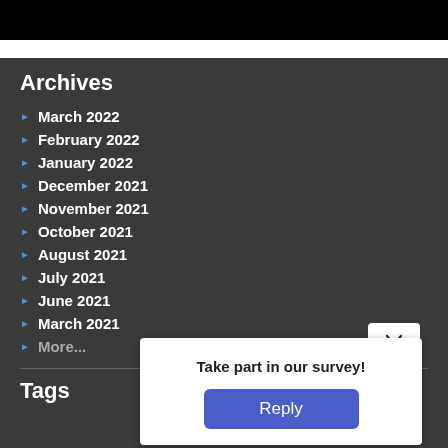[Figure (screenshot): Black bar at top representing a video or media player interface]
Archives
March 2022
February 2022
January 2022
December 2021
November 2021
October 2021
August 2021
July 2021
June 2021
March 2021
More...
Tags
Take part in our survey!
Reply